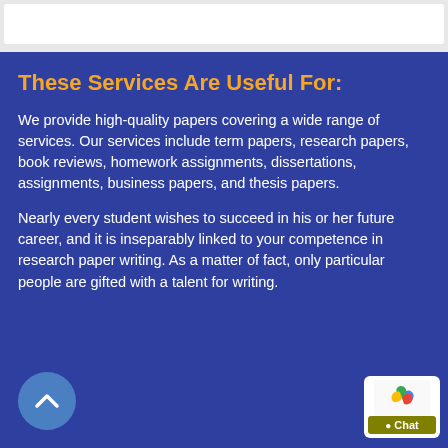These Services Are Useful For:
We provide high-quality papers covering a wide range of services. Our services include term papers, research papers, book reviews, homework assignments, dissertations, assignments, business papers, and thesis papers.
Nearly every student wishes to succeed in his or her future career, and it is inseparably linked to your competence in research paper writing. As a matter of fact, only particular people are gifted with a talent for writing.